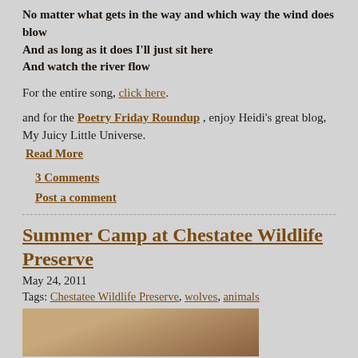No matter what gets in the way and which way the wind does blow
And as long as it does I'll just sit here
And watch the river flow
For the entire song, click here.
and for the Poetry Friday Roundup , enjoy Heidi's great blog, My Juicy Little Universe.
Read More
3 Comments
Post a comment
Summer Camp at Chestatee Wildlife Preserve
May 24, 2011
Tags: Chestatee Wildlife Preserve, wolves, animals
[Figure (photo): Partial photo, cropped at bottom of page]